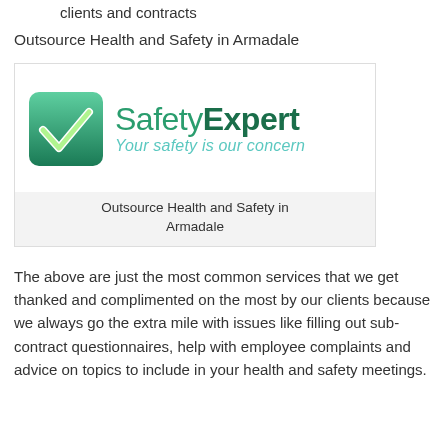clients and contracts
Outsource Health and Safety in Armadale
[Figure (logo): SafetyExpert logo with green checkmark icon and tagline 'Your safety is our concern']
Outsource Health and Safety in Armadale
The above are just the most common services that we get thanked and complimented on the most by our clients because we always go the extra mile with issues like filling out sub-contract questionnaires, help with employee complaints and advice on topics to include in your health and safety meetings.